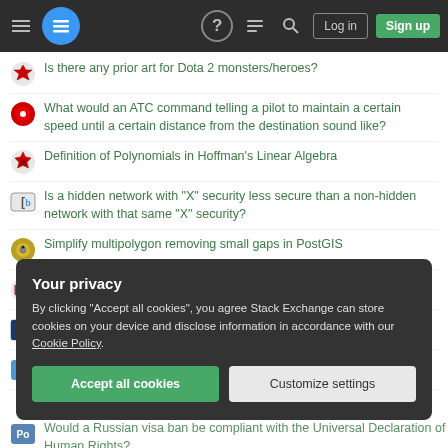Stack Exchange navigation bar with hamburger menu, logo, help, chat, search icons, Log in and Sign up buttons
Is there any prior art for Dota 2 monsters/heroes?
What would an ATC command telling a pilot to maintain a certain speed until a certain distance from the destination sound like?
Definition of Polynomials in Hoffman's Linear Algebra
Is a hidden network with "X" security less secure than a non-hidden network with that same "X" security?
Simplify multipolygon removing small gaps in PostGIS
Why were there so many "nobody" wrestlers in WWF 80s & 90s?
Is constant-time compare really required for AEAD ciphers?
Is accepting a deferred prosecution agreement an admission of guilt?
Your privacy
By clicking "Accept all cookies", you agree Stack Exchange can store cookies on your device and disclose information in accordance with our Cookie Policy.
Would a Russian visa ban be compliant with the Universal Declaration of Human Rights?